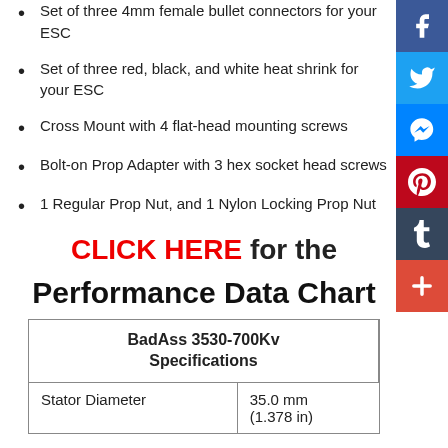Set of three 4mm female bullet connectors for your ESC
Set of three red, black, and white heat shrink for your ESC
Cross Mount with 4 flat-head mounting screws
Bolt-on Prop Adapter with 3 hex socket head screws
1 Regular Prop Nut, and 1 Nylon Locking Prop Nut
CLICK HERE for the Performance Data Chart
| BadAss 3530-700Kv Specifications |  |
| --- | --- |
| Stator Diameter | 35.0 mm
(1.378 in) |